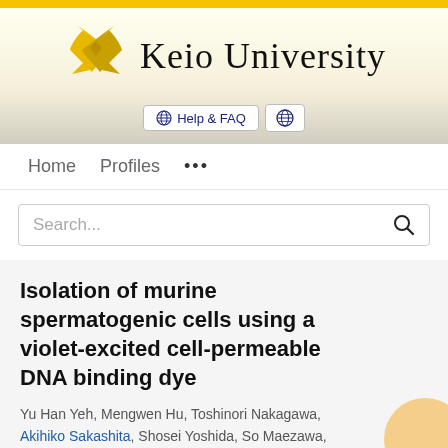[Figure (logo): Keio University logo with crossed pen/quill symbol in gold and the text 'Keio University']
Help & FAQ
Home   Profiles   ...
Search...
Isolation of murine spermatogenic cells using a violet-excited cell-permeable DNA binding dye
Yu Han Yeh, Mengwen Hu, Toshinori Nakagawa, Akihiko Sakashita, Shosei Yoshida, So Maezawa,